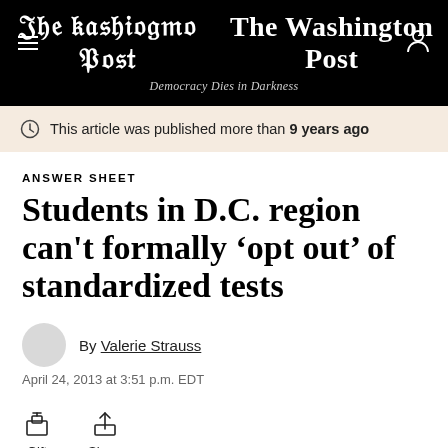The Washington Post — Democracy Dies in Darkness
This article was published more than 9 years ago
ANSWER SHEET
Students in D.C. region can't formally 'opt out' of standardized tests
By Valerie Strauss
April 24, 2013 at 3:51 p.m. EDT
Gift  Share